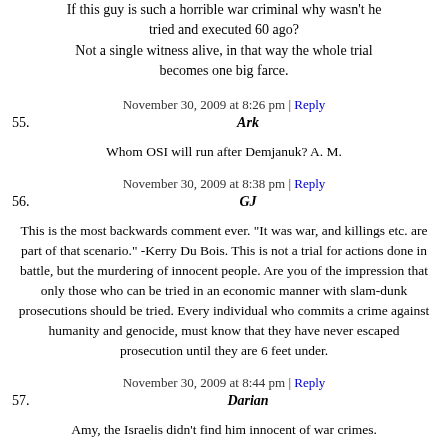If this guy is such a horrible war criminal why wasn't he tried and executed 60 ago?
Not a single witness alive, in that way the whole trial becomes one big farce.
November 30, 2009 at 8:26 pm | Reply
55. Ark
Whom OSI will run after Demjanuk? A. M.
November 30, 2009 at 8:38 pm | Reply
56. GJ
This is the most backwards comment ever. "It was war, and killings etc. are part of that scenario." -Kerry Du Bois. This is not a trial for actions done in battle, but the murdering of innocent people. Are you of the impression that only those who can be tried in an economic manner with slam-dunk prosecutions should be tried. Every individual who commits a crime against humanity and genocide, must know that they have never escaped prosecution until they are 6 feet under.
November 30, 2009 at 8:44 pm | Reply
57. Darian
Amy, the Israelis didn't find him innocent of war crimes.